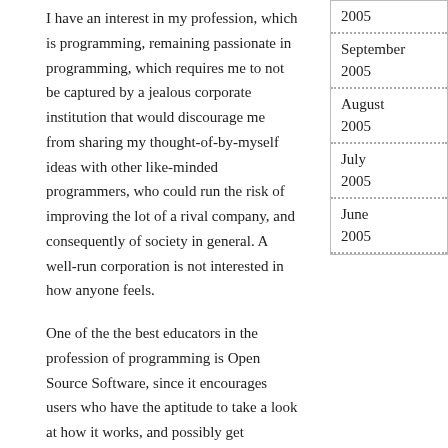I have an interest in my profession, which is programming, remaining passionate in programming, which requires me to not be captured by a jealous corporate institution that would discourage me from sharing my thought-of-by-myself ideas with other like-minded programmers, who could run the risk of improving the lot of a rival company, and consequently of society in general. A well-run corporation is not interested in how anyone feels.
2005
September 2005
August 2005
July 2005
June 2005
One of the the best educators in the profession of programming is Open Source Software, since it encourages users who have the aptitude to take a look at how it works, and possibly get involved. We don't know where the next really hot Operating System coder will be born, but with Linux he or she can get into it at a